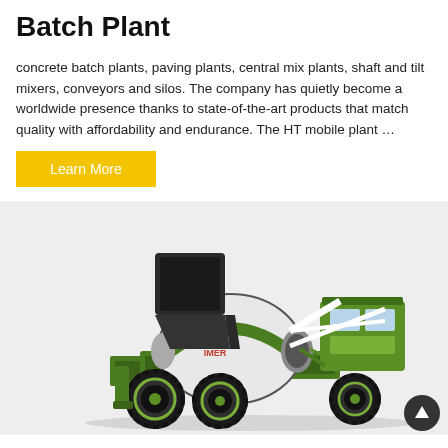Batch Plant
concrete batch plants, paving plants, central mix plants, shaft and tilt mixers, conveyors and silos. The company has quietly become a worldwide presence thanks to state-of-the-art products that match quality with affordability and endurance. The HT mobile plant ...
Learn More
[Figure (photo): A green and white self-loading concrete mixer truck on a light grey background. The machine has large off-road tyres, a rotating drum, and an elevated dark-coloured loading hopper at the rear.]